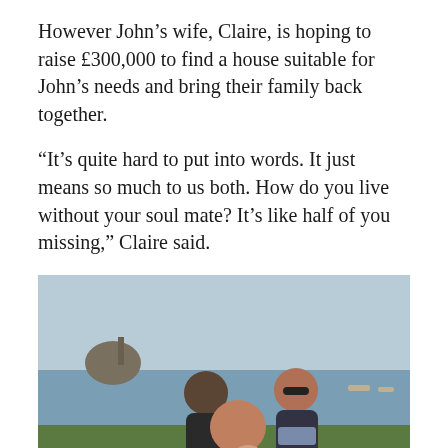However John's wife, Claire, is hoping to raise £300,000 to find a house suitable for John's needs and bring their family back together.
“It’s quite hard to put into words. It just means so much to us both. How do you live without your soul mate? It’s like half of you missing,” Claire said.
[Figure (photo): A family of four posing outdoors near a coastal landscape with a rocky island in the background. Two adults and two children smiling together on grassy ground by the water.]